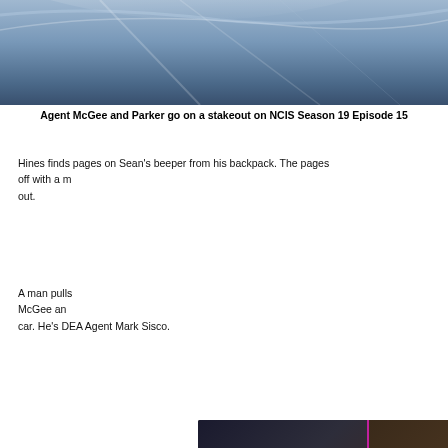[Figure (photo): Close-up of a dark blue car hood or roof with angular lines and reflections]
Agent McGee and Parker go on a stakeout on NCIS Season 19 Episode 15
Hines finds pages on Sean's beeper from his backpack. The pages...
[Figure (screenshot): Video overlay showing 'No compatible source was found for this media.' with THE CHI and ROLANDO BOYCE branding, and an X logo]
A man pulls... McGee an... car. He's DEA Agent Mark Sisco.